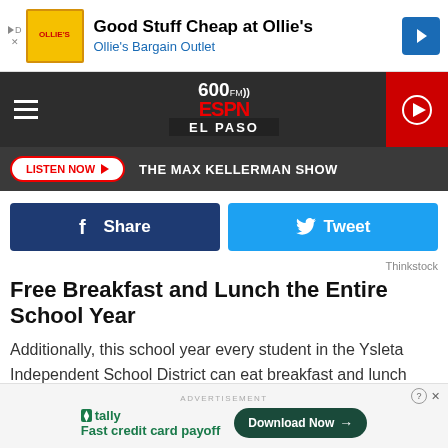[Figure (screenshot): Ollie's Bargain Outlet advertisement banner with logo, text 'Good Stuff Cheap at Ollie's' and 'Ollie's Bargain Outlet', and a directional arrow icon]
[Figure (logo): 600 AM ESPN El Paso radio station logo in nav bar]
LISTEN NOW ▶  THE MAX KELLERMAN SHOW
[Figure (screenshot): Facebook Share button (dark blue) and Twitter Tweet button (cyan blue)]
Thinkstock
Free Breakfast and Lunch the Entire School Year
Additionally, this school year every student in the Ysleta Independent School District can eat breakfast and lunch every school day for free.
[Figure (screenshot): Tally advertisement: 'Fast credit card payoff' with Download Now button]